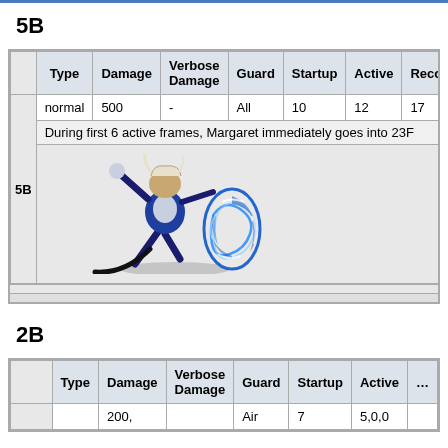5B
|  | Type | Damage | Verbose Damage | Guard | Startup | Active | Recov… |
| --- | --- | --- | --- | --- | --- | --- | --- |
| 5B | normal | 500 | - | All | 10 | 12 | 17 |
|  | During first 6 active frames, Margaret immediately goes into 23F… |  |  |  |  |  |  |
|  | [image of 5B move] |  |  |  |  |  |  |
2B
|  | Type | Damage | Verbose Damage | Guard | Startup | Active | … |
| --- | --- | --- | --- | --- | --- | --- | --- |
|  |  | 200, |  | Air | 7 | 5,0,0 |  |